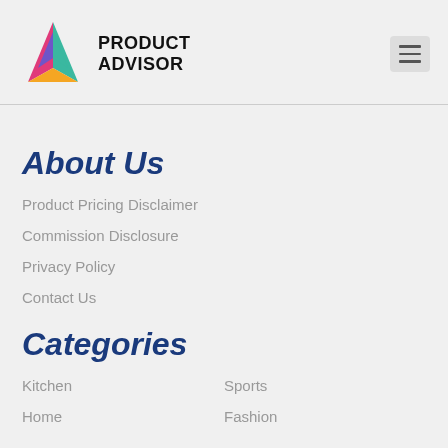[Figure (logo): Product Advisor logo with colorful triangle A icon and bold text PRODUCT ADVISOR]
About Us
Product Pricing Disclaimer
Commission Disclosure
Privacy Policy
Contact Us
Categories
Kitchen
Sports
Home
Fashion